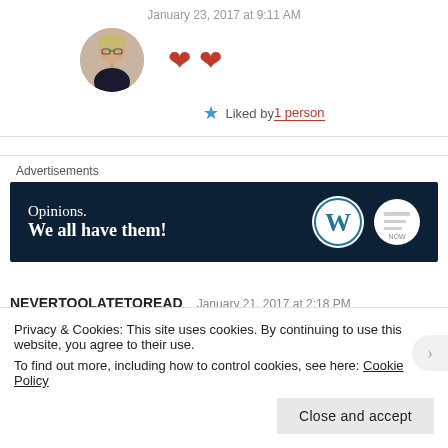January 23, 2017 at 9:11 AM
[Figure (photo): Circular avatar photo of a woman with short blonde hair and glasses, wearing a dark top with a necklace. Two red heart emoji symbols appear to the right.]
★ Liked by 1 person
Advertisements
[Figure (infographic): Dark navy advertisement banner reading 'Opinions. We all have them!' with WordPress logo and a circular badge on the right side.]
NEVERTOOLATETOREAD   January 21, 2017 at 2:18 PM
Privacy & Cookies: This site uses cookies. By continuing to use this website, you agree to their use.
To find out more, including how to control cookies, see here: Cookie Policy